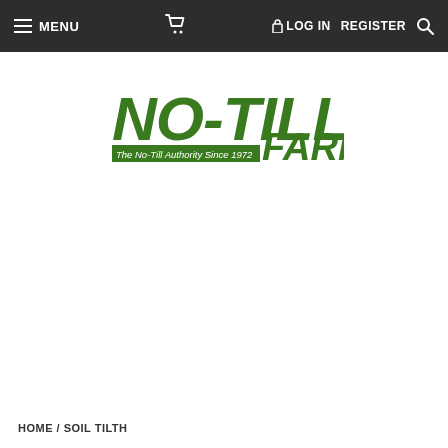MENU  [cart]  LOG IN  REGISTER  [search]
[Figure (logo): No-Till Farmer logo — bold green stylized text reading NO-TILL with a hyphen, below it 'The No-Till Authority Since 1972' in a green banner, and to the right 'FARMER' in large green bold italic text.]
HOME / SOIL TILTH